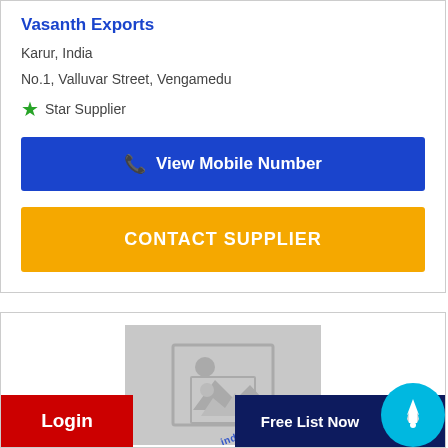Vasanth Exports
Karur, India
No.1, Valluvar Street, Vengamedu
★ Star Supplier
View Mobile Number
CONTACT SUPPLIER
[Figure (photo): Placeholder product image with grey background and image icon, watermark text indiabusiness.com]
Login
Free List Now